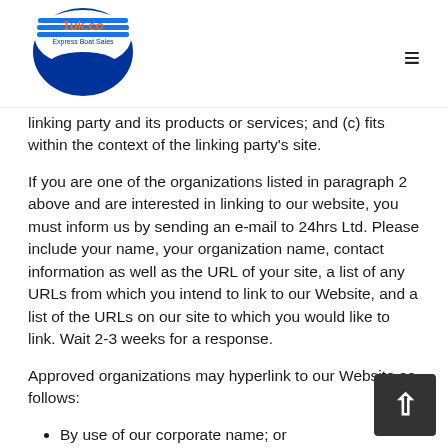1uk.co Express Boat Sales logo and navigation
linking party and its products or services; and (c) fits within the context of the linking party's site.
If you are one of the organizations listed in paragraph 2 above and are interested in linking to our website, you must inform us by sending an e-mail to 24hrs Ltd. Please include your name, your organization name, contact information as well as the URL of your site, a list of any URLs from which you intend to link to our Website, and a list of the URLs on our site to which you would like to link. Wait 2-3 weeks for a response.
Approved organizations may hyperlink to our Website as follows:
By use of our corporate name; or
By use of the uniform resource locator being linked to; or